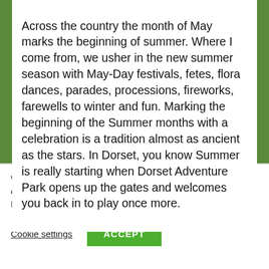Across the country the month of May marks the beginning of summer. Where I come from, we usher in the new summer season with May-Day festivals, fetes, flora dances, parades, processions, fireworks, farewells to winter and fun. Marking the beginning of the Summer months with a celebration is a tradition almost as ancient as the stars. In Dorset, you know Summer is really starting when Dorset Adventure Park opens up the gates and welcomes you back in to play once more.
We use cookies on our website to give you the most relevant experience by remembering your preferences and repeat visits. By clicking “Accept”, you consent to the use of ALL the cookies.
Cookie settings
ACCEPT